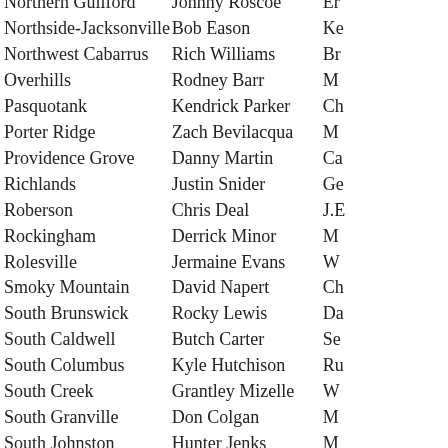| School | Coach |  |
| --- | --- | --- |
| Northern Guilford | Johnny Roscoe | Er |
| Northside-Jacksonville | Bob Eason | Ke |
| Northwest Cabarrus | Rich Williams | Br |
| Overhills | Rodney Barr | M |
| Pasquotank | Kendrick Parker | Ch |
| Porter Ridge | Zach Bevilacqua | M |
| Providence Grove | Danny Martin | Ca |
| Richlands | Justin Snider | Ge |
| Roberson | Chris Deal | J.E |
| Rockingham | Derrick Minor | M |
| Rolesville | Jermaine Evans | W |
| Smoky Mountain | David Napert | Ch |
| South Brunswick | Rocky Lewis | Da |
| South Caldwell | Butch Carter | Se |
| South Columbus | Kyle Hutchison | Ru |
| South Creek | Grantley Mizelle | W |
| South Granville | Don Colgan | M |
| South Johnston | Hunter Jenks | M |
| South Stokes | Jonathan Frasher | Pa |
| Southeast Raleigh | Mike Thibodeau | Da |